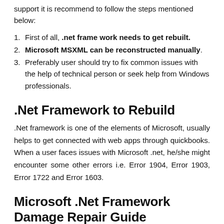support it is recommend to follow the steps mentioned below:
First of all, .net frame work needs to get rebuilt.
Microsoft MSXML can be reconstructed manually.
Preferably user should try to fix common issues with the help of technical person or seek help from Windows professionals.
.Net Framework to Rebuild
.Net framework is one of the elements of Microsoft, usually helps to get connected with web apps through quickbooks. When a user faces issues with Microsoft .net, he/she might encounter some other errors i.e. Error 1904, Error 1903, Error 1722 and Error 1603.
Microsoft .Net Framework Damage Repair Guide